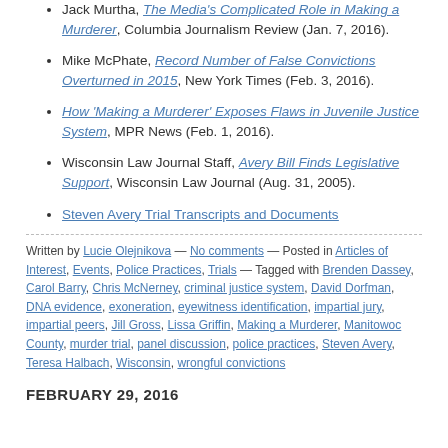Jack Murtha, The Media's Complicated Role in Making a Murderer, Columbia Journalism Review (Jan. 7, 2016).
Mike McPhate, Record Number of False Convictions Overturned in 2015, New York Times (Feb. 3, 2016).
How 'Making a Murderer' Exposes Flaws in Juvenile Justice System, MPR News (Feb. 1, 2016).
Wisconsin Law Journal Staff, Avery Bill Finds Legislative Support, Wisconsin Law Journal (Aug. 31, 2005).
Steven Avery Trial Transcripts and Documents
Written by Lucie Olejnikova — No comments — Posted in Articles of Interest, Events, Police Practices, Trials — Tagged with Brenden Dassey, Carol Barry, Chris McNerney, criminal justice system, David Dorfman, DNA evidence, exoneration, eyewitness identification, impartial jury, impartial peers, Jill Gross, Lissa Griffin, Making a Murderer, Manitowoc County, murder trial, panel discussion, police practices, Steven Avery, Teresa Halbach, Wisconsin, wrongful convictions
FEBRUARY 29, 2016